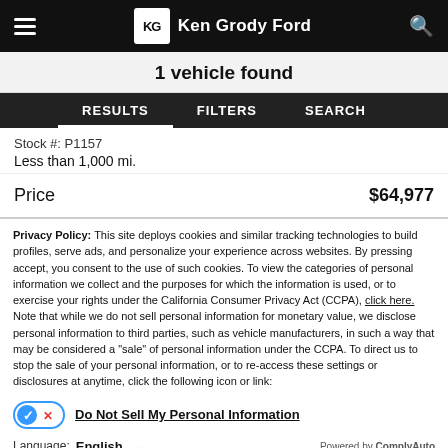Ken Grody Ford
1 vehicle found
RESULTS   FILTERS   SEARCH
Stock #: P1157
Less than 1,000 mi.
Price   $64,977
Privacy Policy: This site deploys cookies and similar tracking technologies to build profiles, serve ads, and personalize your experience across websites. By pressing accept, you consent to the use of such cookies. To view the categories of personal information we collect and the purposes for which the information is used, or to exercise your rights under the California Consumer Privacy Act (CCPA), click here. Note that while we do not sell personal information for monetary value, we disclose personal information to third parties, such as vehicle manufacturers, in such a way that may be considered a "sale" of personal information under the CCPA. To direct us to stop the sale of your personal information, or to re-access these settings or disclosures at anytime, click the following icon or link:
Do Not Sell My Personal Information
Language: English   Powered by ComplyAuto
Accept and Continue →   California Privacy Disclosures   ×